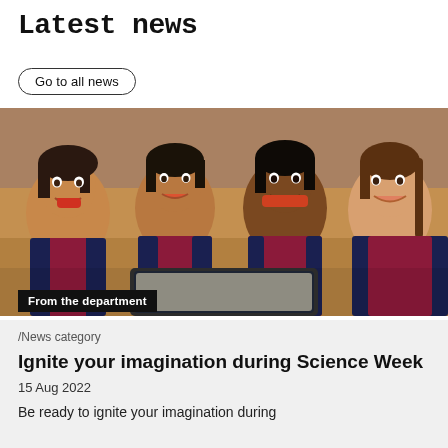Latest news
Go to all news
[Figure (photo): Four smiling school children in navy and maroon uniforms leaning over a tablet device, photographed from above in a school gym setting.]
From the department
/News category
Ignite your imagination during Science Week
15 Aug 2022
Be ready to ignite your imagination during